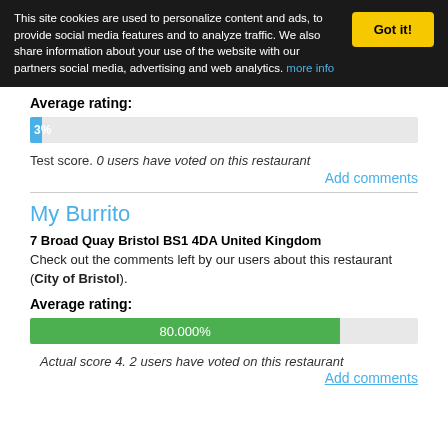This site cookies are used to personalize content and ads, to provide social media features and to analyze traffic. We also share information about your use of the website with our partners social media, advertising and web analytics. more info
Got it!
Average rating:
[Figure (other): Progress bar showing a small blue fill labeled '39' on a light gray background, representing a near-zero percentage rating.]
Test score. 0 users have voted on this restaurant
Add comments
My Burrito
7 Broad Quay Bristol BS1 4DA United Kingdom
Check out the comments left by our users about this restaurant (City of Bristol).
Average rating:
[Figure (other): Progress bar showing a green fill labeled '80.000%' spanning about 80% of the bar on a light gray background.]
Actual score 4. 2 users have voted on this restaurant
Add comments